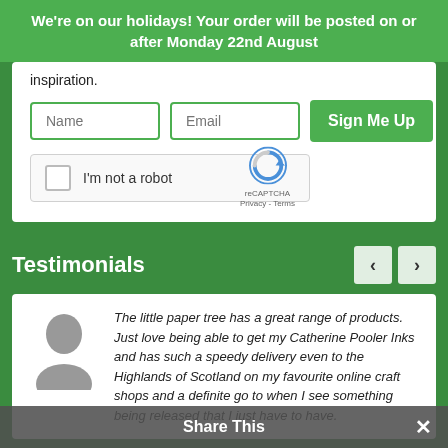We're on our holidays! Your order will be posted on or after Monday 22nd August
inspiration.
[Figure (screenshot): Web form with Name and Email input fields and a Sign Me Up button, plus a reCAPTCHA checkbox widget.]
Testimonials
The little paper tree has a great range of products. Just love being able to get my Catherine Pooler Inks and has such a speedy delivery even to the Highlands of Scotland on my favourite online craft shops and a definite go to when I see something being released that I just have to have.